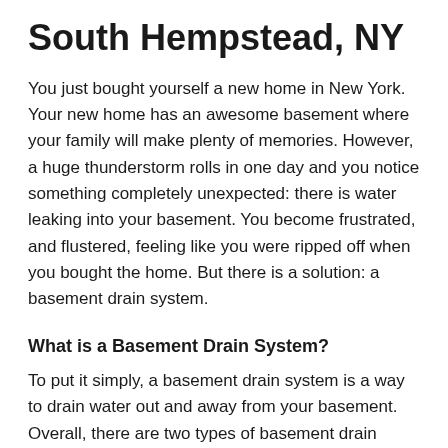South Hempstead, NY
You just bought yourself a new home in New York. Your new home has an awesome basement where your family will make plenty of memories. However, a huge thunderstorm rolls in one day and you notice something completely unexpected: there is water leaking into your basement. You become frustrated, and flustered, feeling like you were ripped off when you bought the home. But there is a solution: a basement drain system.
What is a Basement Drain System?
To put it simply, a basement drain system is a way to drain water out and away from your basement. Overall, there are two types of basement drain systems:
Exterior French Drain System: